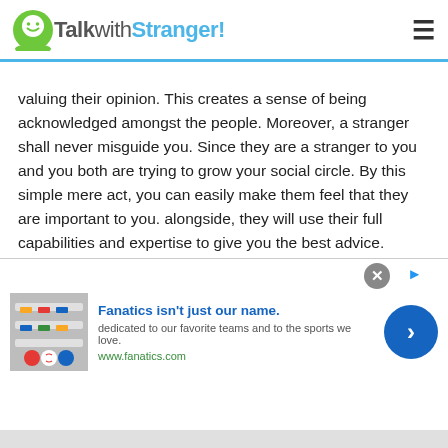TalkwithStranger!
valuing their opinion. This creates a sense of being acknowledged amongst the people. Moreover, a stranger shall never misguide you. Since they are a stranger to you and you both are trying to grow your social circle. By this simple mere act, you can easily make them feel that they are important to you. alongside, they will use their full capabilities and expertise to give you the best advice.

Furthermore, if you are willing to grow your social circle and chat with people of Brazil, then asking strangers for their opinion can help you the most
[Figure (screenshot): Fanatics advertisement banner: 'Fanatics isn't just our name. dedicated to our favorite teams and to the sports we love. www.fanatics.com']